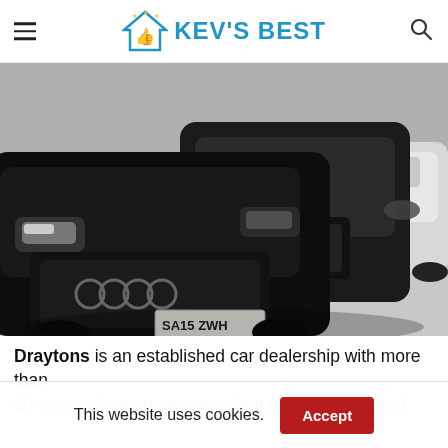KEV'S BEST
[Figure (photo): Black and white photo of multiple Audi cars lined up at a car dealership, with the closest car showing registration plate SA15 ZWH]
Draytons is an established car dealership with more than 20 years of experience in selling great quality used
This website uses cookies. Accept